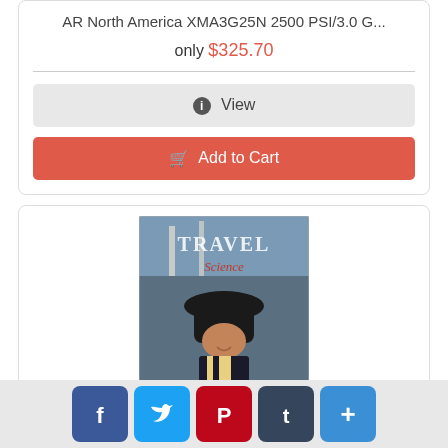AR North America XMA3G25N 2500 PSI/3.0 G...
only $325.70
View
Add to Cart
[Figure (photo): Product image for Williamsburg, Virginia - America's Historic Triangle travel video/DVD]
Williamsburg, Virginia - America's Histo...
Social sharing buttons: Facebook, Twitter, Pinterest, Tumblr, More